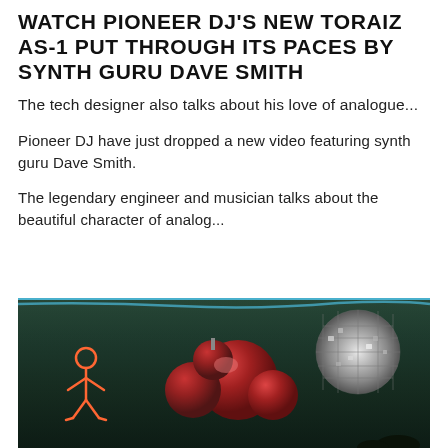WATCH PIONEER DJ'S NEW TORAIZ AS-1 PUT THROUGH ITS PACES BY SYNTH GURU DAVE SMITH
The tech designer also talks about his love of analogue...
Pioneer DJ have just dropped a new video featuring synth guru Dave Smith.
The legendary engineer and musician talks about the beautiful character of analog...
[Figure (photo): Dark club/studio scene showing red metallic spheres/cowbells, a glowing disco mirror ball on the right, a neon orange figure outline on the left, and silhouetted figures, with a blue light cable visible at top]